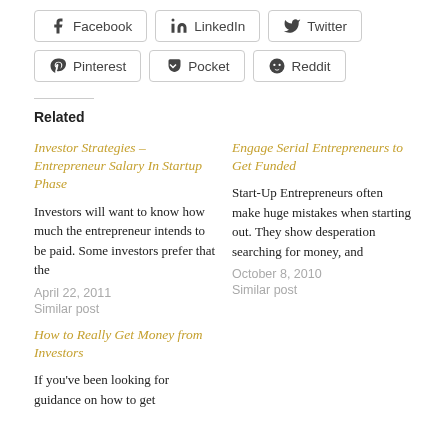Facebook
LinkedIn
Twitter
Pinterest
Pocket
Reddit
Related
Investor Strategies – Entrepreneur Salary In Startup Phase
Investors will want to know how much the entrepreneur intends to be paid. Some investors prefer that the
April 22, 2011
Similar post
Engage Serial Entrepreneurs to Get Funded
Start-Up Entrepreneurs often make huge mistakes when starting out. They show desperation searching for money, and
October 8, 2010
Similar post
How to Really Get Money from Investors
If you've been looking for guidance on how to get